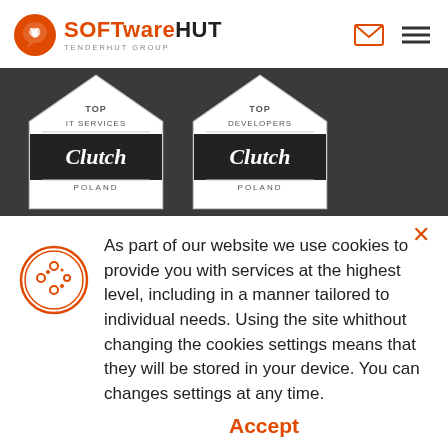SoftwareHut – TenderHut Group (navigation header with logo, email icon, menu icon)
[Figure (screenshot): Dark banner showing two Clutch award badges: 'TOP IT SERVICES – Clutch – Poland' and 'TOP DEVELOPERS – Clutch – Poland' on a dark gray background]
As part of our website we use cookies to provide you with services at the highest level, including in a manner tailored to individual needs. Using the site whithout changing the cookies settings means that they will be stored in your device. You can changes settings at any time.
Accept